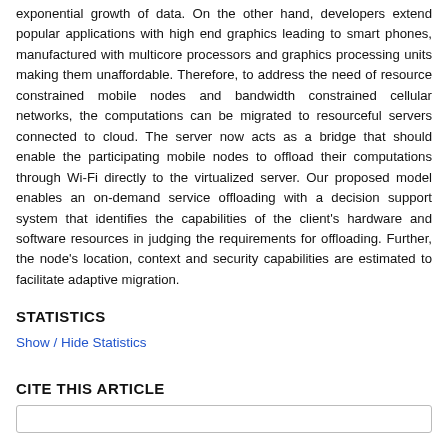exponential growth of data. On the other hand, developers extend popular applications with high end graphics leading to smart phones, manufactured with multicore processors and graphics processing units making them unaffordable. Therefore, to address the need of resource constrained mobile nodes and bandwidth constrained cellular networks, the computations can be migrated to resourceful servers connected to cloud. The server now acts as a bridge that should enable the participating mobile nodes to offload their computations through Wi-Fi directly to the virtualized server. Our proposed model enables an on-demand service offloading with a decision support system that identifies the capabilities of the client's hardware and software resources in judging the requirements for offloading. Further, the node's location, context and security capabilities are estimated to facilitate adaptive migration.
STATISTICS
Show / Hide Statistics
CITE THIS ARTICLE